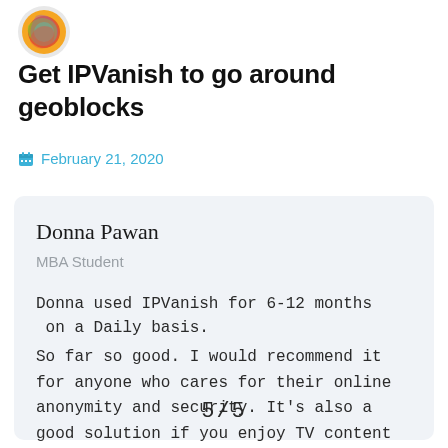[Figure (logo): Colorful circular logo/avatar in the top left corner]
Get IPVanish to go around geoblocks
February 21, 2020
Donna Pawan
MBA Student
Donna used IPVanish for 6-12 months on a Daily basis.
So far so good. I would recommend it for anyone who cares for their online anonymity and security. It's also a good solution if you enjoy TV content from different countries.
5/5